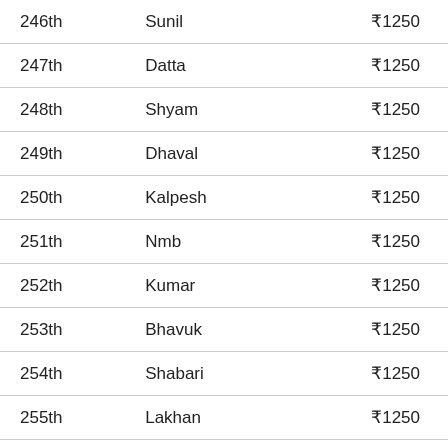| Rank | Name | Amount |
| --- | --- | --- |
| 246th | Sunil | ₹1250 |
| 247th | Datta | ₹1250 |
| 248th | Shyam | ₹1250 |
| 249th | Dhaval | ₹1250 |
| 250th | Kalpesh | ₹1250 |
| 251th | Nmb | ₹1250 |
| 252th | Kumar | ₹1250 |
| 253th | Bhavuk | ₹1250 |
| 254th | Shabari | ₹1250 |
| 255th | Lakhan | ₹1250 |
| 256th | S | ₹1250 |
| 257th | Amar | ₹1250 |